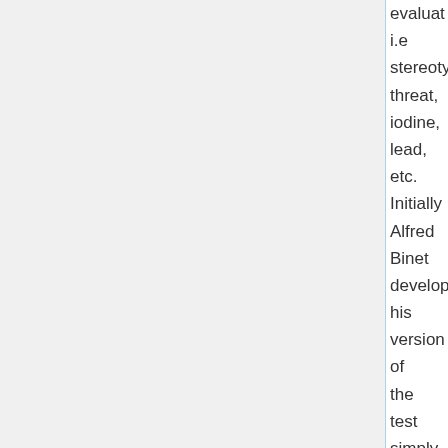evaluate i.e stereotype threat, iodine, lead, etc. Initially Alfred Binet developed his version of the test simply to identify areas where